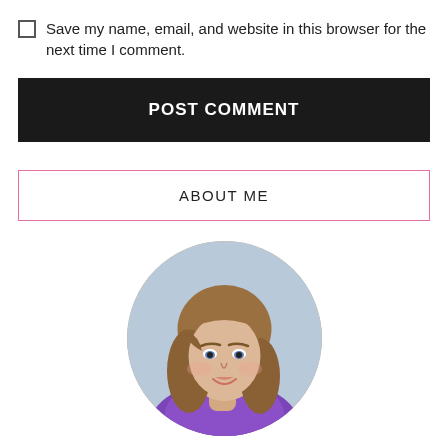Save my name, email, and website in this browser for the next time I comment.
POST COMMENT
ABOUT ME
[Figure (photo): Circular profile photo of a young woman with shoulder-length brown hair, blue eyes, wearing a purple top, smiling slightly.]